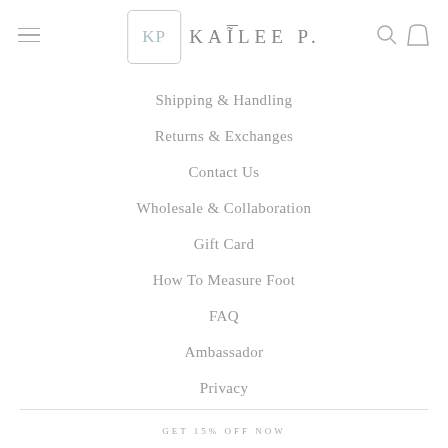KAILEE P.
Shipping & Handling
Returns & Exchanges
Contact Us
Wholesale & Collaboration
Gift Card
How To Measure Foot
FAQ
Ambassador
Privacy
GET 15% OFF NOW